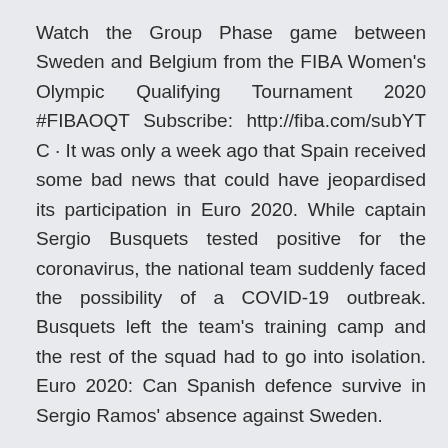Watch the Group Phase game between Sweden and Belgium from the FIBA Women's Olympic Qualifying Tournament 2020 #FIBAOQT Subscribe: http://fiba.com/subYT C · It was only a week ago that Spain received some bad news that could have jeopardised its participation in Euro 2020. While captain Sergio Busquets tested positive for the coronavirus, the national team suddenly faced the possibility of a COVID-19 outbreak. Busquets left the team's training camp and the rest of the squad had to go into isolation. Euro 2020: Can Spanish defence survive in Sergio Ramos' absence against Sweden.